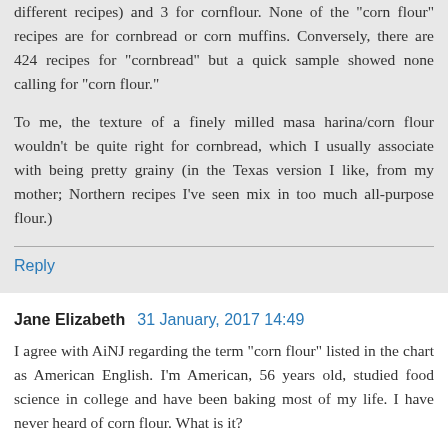different recipes) and 3 for cornflour. None of the "corn flour" recipes are for cornbread or corn muffins. Conversely, there are 424 recipes for "cornbread" but a quick sample showed none calling for "corn flour."
To me, the texture of a finely milled masa harina/corn flour wouldn't be quite right for cornbread, which I usually associate with being pretty grainy (in the Texas version I like, from my mother; Northern recipes I've seen mix in too much all-purpose flour.)
Reply
Jane Elizabeth  31 January, 2017 14:49
I agree with AiNJ regarding the term "corn flour" listed in the chart as American English. I'm American, 56 years old, studied food science in college and have been baking most of my life. I have never heard of corn flour. What is it?
Reply